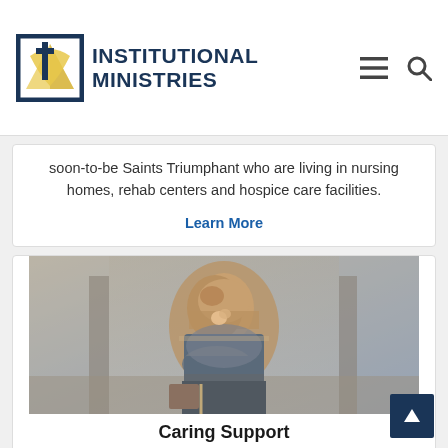[Figure (logo): Institutional Ministries logo with cross and sun icon]
soon-to-be Saints Triumphant who are living in nursing homes, rehab centers and hospice care facilities.
Learn More
[Figure (photo): Man leaning on balcony railing looking downward, appearing distressed]
Caring Support
Today, more than ever, the number of people suffering in silence behind unseen walls of addiction, anxiety and